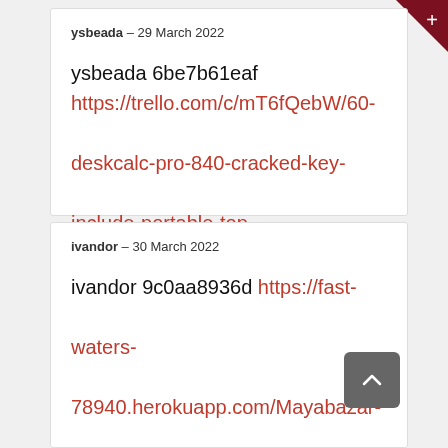ysbeada – 29 March 2022
ysbeada 6be7b61eaf https://trello.com/c/mT6fQebW/60-deskcalc-pro-840-cracked-key-include-portable-top
ivandor – 30 March 2022
ivandor 9c0aa8936d https://fast-waters-78940.herokuapp.com/Mayabazar-Old-Tamil-Movie-Mp3-Songs-Free-